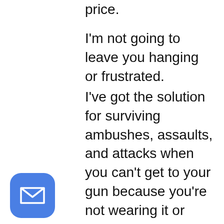price.
I'm not going to leave you hanging or frustrated.
I've got the solution for surviving ambushes, assaults, and attacks when you can't get to your gun because you're not wearing it or because you're too busy fighting off blows ...
[Figure (illustration): Blue rounded square email icon with a white envelope symbol]